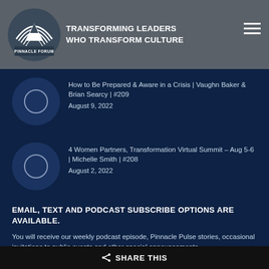[Figure (logo): Pinnacle Forum logo - mountain with rainbow arc above and text PINNACLE FORUM below]
TRANSFORMING LEADERS WHO TRANSFORM CULTURE
How to Be Prepared & Aware in a Crisis | Vaughn Baker & Brian Searcy | #209
August 9, 2022
4 Women Partners, Transformation Virtual Summit – Aug 5-6 | Michelle Smith | #208
August 2, 2022
EMAIL, TEXT AND PODCAST SUBSCRIBE OPTIONS ARE AVAILABLE.
You will receive our weekly podcast episode, Pinnacle Pulse stories, occasional invitations to public events and other special announcements.
SUBSCRIBE
< SHARE THIS